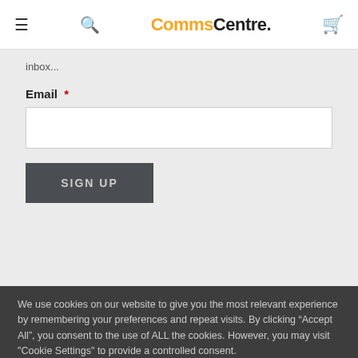CommsCentre.
inbox...
Email *
SIGN UP
We use cookies on our website to give you the most relevant experience by remembering your preferences and repeat visits. By clicking “Accept All”, you consent to the use of ALL the cookies. However, you may visit "Cookie Settings" to provide a controlled consent.
Cookie Settings
Accept All